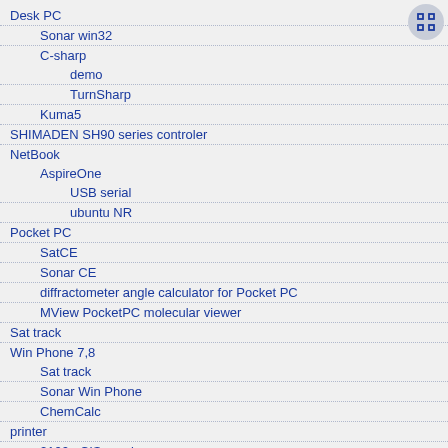Desk PC
Sonar win32
C-sharp
demo
TurnSharp
Kuma5
SHIMADEN SH90 series controler
NetBook
AspireOne
USB serial
ubuntu NR
Pocket PC
SatCE
Sonar CE
diffractometer angle calculator for Pocket PC
MView PocketPC molecular viewer
Sat track
Win Phone 7,8
Sat track
Sonar Win Phone
ChemCalc
printer
2100p CIS repair
Intellidge hacks
MakeaFake
ROlisting
RWlisting
Intellidge Extermination
colour management